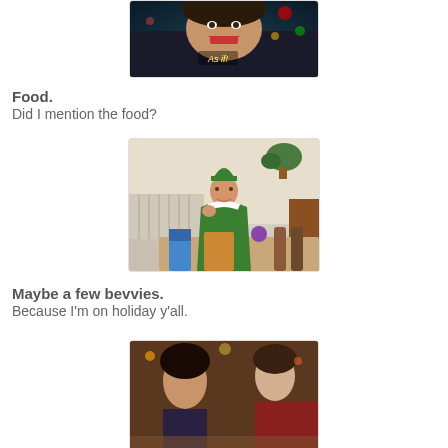[Figure (photo): Partial top image: woman laughing with text 'As if!' overlay, bokeh lights in background]
Food.
Did I mention the food?
[Figure (photo): Movie still from Elf: Will Ferrell in green elf costume sitting at a table covered with food and drinks]
Maybe a few bevvies.
Because I'm on holiday y'all.
[Figure (photo): Partial bottom image: person at what appears to be a party or gathering scene]